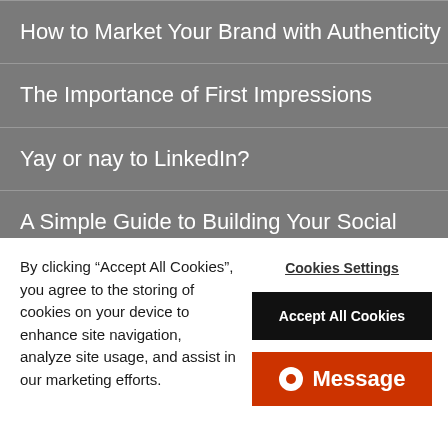How to Market Your Brand with Authenticity
The Importance of First Impressions
Yay or nay to LinkedIn?
A Simple Guide to Building Your Social Media Calendar
Google My Business: The New Yellow Pages
What's Next for Retail in The Digital Space?
Is Bigger Really Better? Followers & False Engagement
What Would Become of Social Media Marketing Without
By clicking “Accept All Cookies”, you agree to the storing of cookies on your device to enhance site navigation, analyze site usage, and assist in our marketing efforts.
Cookies Settings
Accept All Cookies
Message